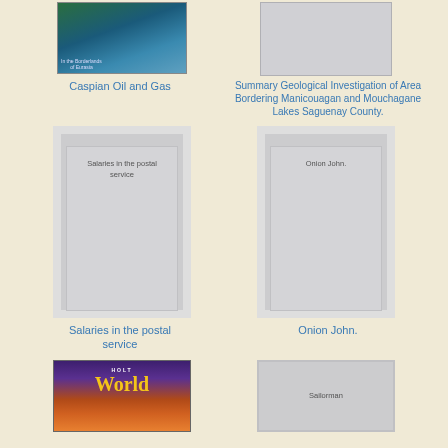[Figure (photo): Book cover: Caspian Oil and Gas, colorful teal/blue-green map background]
Caspian Oil and Gas
[Figure (photo): Book cover: Summary Geological Investigation of Area Bordering Manicouagan and Mouchagane Lakes Saguenay County. — blank grey cover]
Summary Geological Investigation of Area Bordering Manicouagan and Mouchagane Lakes Saguenay County.
[Figure (photo): Book cover: Salaries in the postal service — grey cover with text]
Salaries in the postal service
[Figure (photo): Book cover: Onion John. — grey cover with text]
Onion John.
[Figure (photo): Book cover: Holt World — purple and orange desert landscape cover]
[Figure (photo): Book cover: Sailorman — grey cover with text]